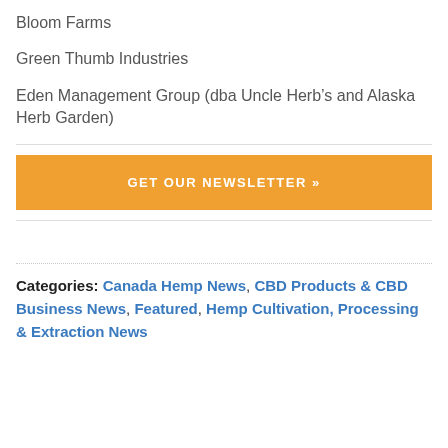Bloom Farms
Green Thumb Industries
Eden Management Group (dba Uncle Herb’s and Alaska Herb Garden)
[Figure (other): Orange/amber button labeled GET OUR NEWSLETTER »]
Categories: Canada Hemp News, CBD Products & CBD Business News, Featured, Hemp Cultivation, Processing & Extraction News